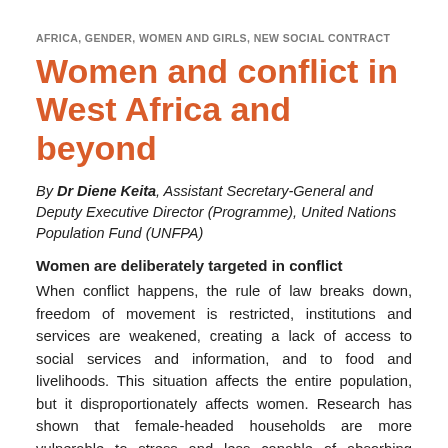AFRICA, GENDER, WOMEN AND GIRLS, NEW SOCIAL CONTRACT
Women and conflict in West Africa and beyond
By Dr Diene Keita, Assistant Secretary-General and Deputy Executive Director (Programme), United Nations Population Fund (UNFPA)
Women are deliberately targeted in conflict
When conflict happens, the rule of law breaks down, freedom of movement is restricted, institutions and services are weakened, creating a lack of access to social services and information, and to food and livelihoods. This situation affects the entire population, but it disproportionately affects women. Research has shown that female-headed households are more vulnerable to stress and less capable of absorbing shocks, due to gender inequality, cultural restrictions and the feminisation of poverty. Conflict affects women and men differently and existing gender inequalities are